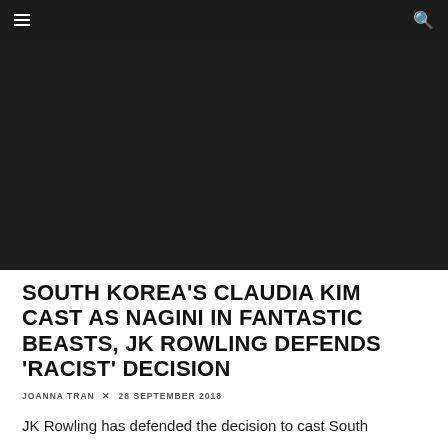≡  🔍
[Figure (photo): Dark/black hero image, likely a movie scene or promotional image, content not clearly visible]
SOUTH KOREA'S CLAUDIA KIM CAST AS NAGINI IN FANTASTIC BEASTS, JK ROWLING DEFENDS 'RACIST' DECISION
JOANNA TRAN × 28 SEPTEMBER 2018
JK Rowling has defended the decision to cast South